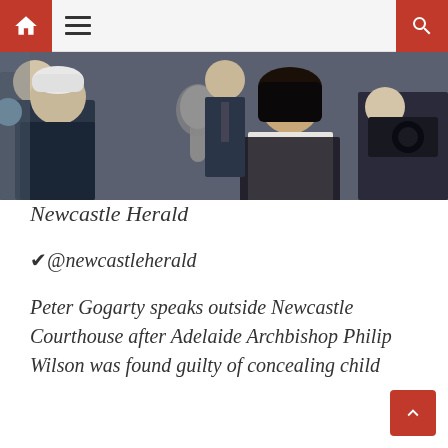Navigation bar with home, menu, and search icons
[Figure (photo): Press scene outside a courthouse — a man with grey hair being interviewed by a journalist with a microphone, surrounded by media cameras and reporters]
Newcastle Herald
✔@newcastleherald
Peter Gogarty speaks outside Newcastle Courthouse after Adelaide Archbishop Philip Wilson was found guilty of concealing child